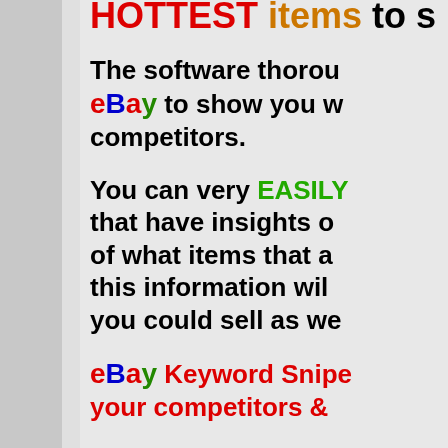HOTTEST items to s
The software thorou eBay to show you w competitors.
You can very EASILY that have insights o of what items that a this information wil you could sell as we
eBay Keyword Snipe your competitors &